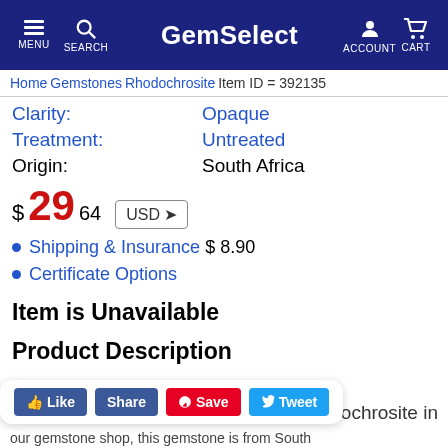GemSelect — MENU SEARCH ACCOUNT CART
Home > Gemstones > Rhodochrosite   Item ID = 392135
Clarity: Opaque
Treatment: Untreated
Origin: South Africa
$ 29 .64  USD
Shipping & Insurance $ 8.90
Certificate Options
Item is Unavailable
Product Description
Rhodochrosite in
our gemstone shop, this gemstone is from South